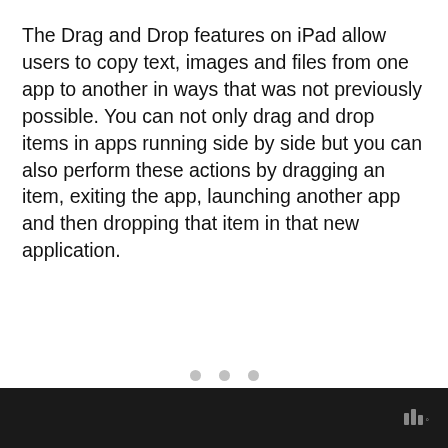The Drag and Drop features on iPad allow users to copy text, images and files from one app to another in ways that was not previously possible. You can not only drag and drop items in apps running side by side but you can also perform these actions by dragging an item, exiting the app, launching another app and then dropping that item in that new application.
[Figure (other): Three grey pagination dots centered on page]
Ww°